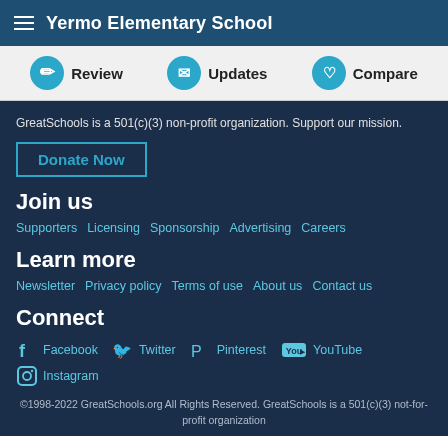Yermo Elementary School
[Figure (infographic): Navigation bar with Review, Updates, and Compare buttons with circular icons]
GreatSchools is a 501(c)(3) non-profit organization. Support our mission.
Donate Now
Join us
Supporters
Licensing
Sponsorship
Advertising
Careers
Learn more
Newsletter
Privacy policy
Terms of use
About us
Contact us
Connect
Facebook
Twitter
Pinterest
YouTube
Instagram
©1998-2022 GreatSchools.org All Rights Reserved. GreatSchools is a 501(c)(3) not-for-profit organization